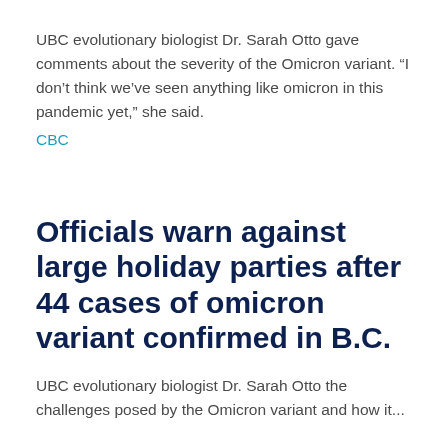UBC evolutionary biologist Dr. Sarah Otto gave comments about the severity of the Omicron variant. “I don’t think we’ve seen anything like omicron in this pandemic yet,” she said.
CBC
Officials warn against large holiday parties after 44 cases of omicron variant confirmed in B.C.
UBC evolutionary biologist Dr. Sarah Otto the challenges posed by the Omicron variant and how it...